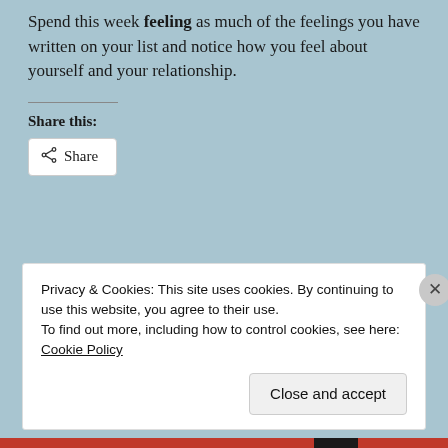Spend this week feeling as much of the feelings you have written on your list and notice how you feel about yourself and your relationship.
Share this:
[Figure (other): Share button with share icon]
Privacy & Cookies: This site uses cookies. By continuing to use this website, you agree to their use.
To find out more, including how to control cookies, see here: Cookie Policy
Close and accept